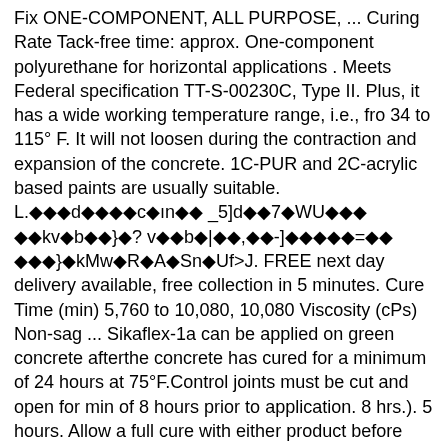Fix ONE-COMPONENT, ALL PURPOSE, ... Curing Rate Tack-free time: approx. One-component polyurethane for horizontal applications . Meets Federal specification TT-S-00230C, Type II. Plus, it has a wide working temperature range, i.e., fro 34 to 115° F. It will not loosen during the contraction and expansion of the concrete. 1C-PUR and 2C-acrylic based paints are usually suitable. L.◆◆◆d◆◆◆◆c◆ın◆◆ _5]d◆◆7◆WU◆◆◆ ◆◆kv◆b◆◆}◆? v◆◆b◆|◆◆,◆◆-]◆◆◆◆◆=◆◆ ◆◆◆}◆kMw◆R◆A◆Sn◆Uf>J. FREE next day delivery available, free collection in 5 minutes. Cure Time (min) 5,760 to 10,080, 10,080 Viscosity (cPs) Non-sag ... Sikaflex-1a can be applied on green concrete afterthe concrete has cured for a minimum of 24 hours at 75°F.Control joints must be cut and open for min of 8 hours prior to application. 8 hrs.). 5 hours. Allow a full cure with either product before submerging it. Sikaflex + Concrete Fix is a moisture-cured, 1-component, polyurethane-based, non-sag elastomeric sealant. Sikaflex® Concrete Fix. Before sealing, allow a flash-off